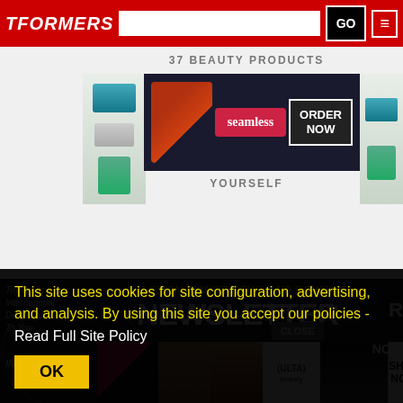TFORMERS
[Figure (screenshot): Seamless food delivery advertisement banner with pizza image, seamless logo, and ORDER NOW button]
[Figure (advertisement): Toy News International newsletter banner with ACTION FIGURE NEWS AND REVIEWS headline and NEWSLETTER text]
[Figure (advertisement): ULTA Beauty advertisement strip with makeup product images and SHOP NOW button]
This site uses cookies for site configuration, advertising, and analysis. By using this site you accept our policies - Read Full Site Policy
OK